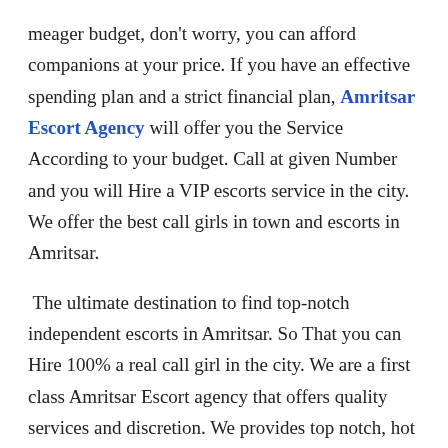meager budget, don't worry, you can afford companions at your price. If you have an effective spending plan and a strict financial plan, Amritsar Escort Agency will offer you the Service According to your budget. Call at given Number and you will Hire a VIP escorts service in the city. We offer the best call girls in town and escorts in Amritsar.
The ultimate destination to find top-notch independent escorts in Amritsar. So That you can Hire 100% a real call girl in the city. We are a first class Amritsar Escort agency that offers quality services and discretion. We provides top notch, hot and sexy Punjabi female escort services in Amritsar. You can enjoy Amritsar Call Girls intimate services without confession. Your sex and relationship